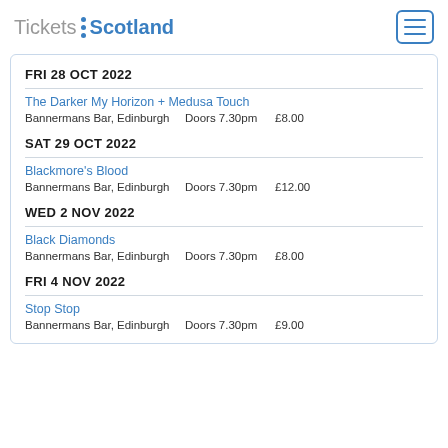Tickets Scotland
FRI 28 OCT 2022
The Darker My Horizon + Medusa Touch
Bannermans Bar, Edinburgh    Doors 7.30pm    £8.00
SAT 29 OCT 2022
Blackmore's Blood
Bannermans Bar, Edinburgh    Doors 7.30pm    £12.00
WED 2 NOV 2022
Black Diamonds
Bannermans Bar, Edinburgh    Doors 7.30pm    £8.00
FRI 4 NOV 2022
Stop Stop
Bannermans Bar, Edinburgh    Doors 7.30pm    £9.00